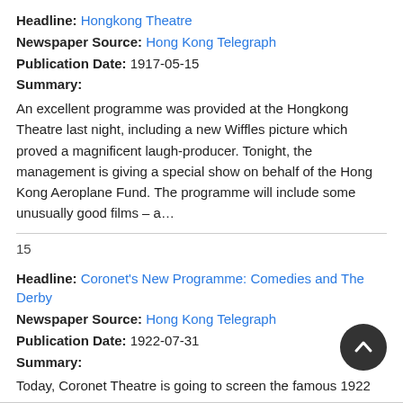Headline: Hongkong Theatre
Newspaper Source: Hong Kong Telegraph
Publication Date: 1917-05-15
Summary:
An excellent programme was provided at the Hongkong Theatre last night, including a new Wiffles picture which proved a magnificent laugh-producer. Tonight, the management is giving a special show on behalf of the Hong Kong Aeroplane Fund. The programme will include some unusually good films – a…
15
Headline: Coronet's New Programme: Comedies and The Derby
Newspaper Source: Hong Kong Telegraph
Publication Date: 1922-07-31
Summary:
Today, Coronet Theatre is going to screen the famous 1922 Derby which was won by Captain Cuttle. The Theatre will also present two comedies, 'Her Unwilling Husband,' starring Blanche Swe… and 'Now or Never,' starring Harold Lloyd.